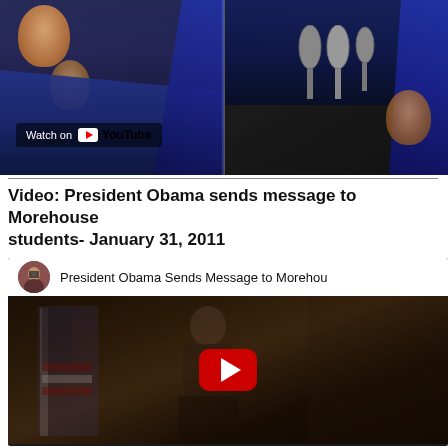[Figure (screenshot): YouTube video thumbnail showing graduation ceremony with people in blue academic gowns. Left half shows a person in a blue graduation gown with a 'Watch on YouTube' badge overlay. Right half shows a person at a podium with microphones in academic regalia.]
Video: President Obama sends message to Morehouse students- January 31, 2011
[Figure (screenshot): Embedded YouTube video player showing 'President Obama Sends Message to Morehouse' with a channel avatar on the left, video title in the header, and a dark video frame showing a figure with an American flag, with a red YouTube play button in the center.]